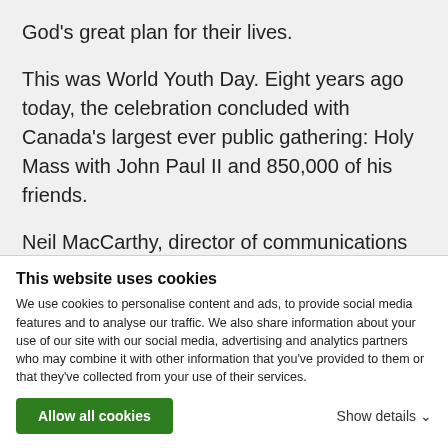God’s great plan for their lives.
This was World Youth Day. Eight years ago today, the celebration concluded with Canada’s largest ever public gathering: Holy Mass with John Paul II and 850,000 of his friends.
Neil MacCarthy, director of communications and public relations for the Archdiocese of Toronto, also noted the stark contrast between those
This website uses cookies
We use cookies to personalise content and ads, to provide social media features and to analyse our traffic. We also share information about your use of our site with our social media, advertising and analytics partners who may combine it with other information that you’ve provided to them or that they’ve collected from your use of their services.
Allow all cookies
Show details